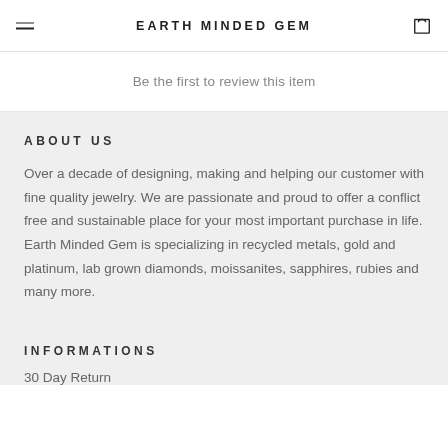EARTH MINDED GEM
Be the first to review this item
ABOUT US
Over a decade of designing, making and helping our customer with fine quality jewelry. We are passionate and proud to offer a conflict free and sustainable place for your most important purchase in life. Earth Minded Gem is specializing in recycled metals, gold and platinum, lab grown diamonds, moissanites, sapphires, rubies and many more.
INFORMATIONS
30 Day Return